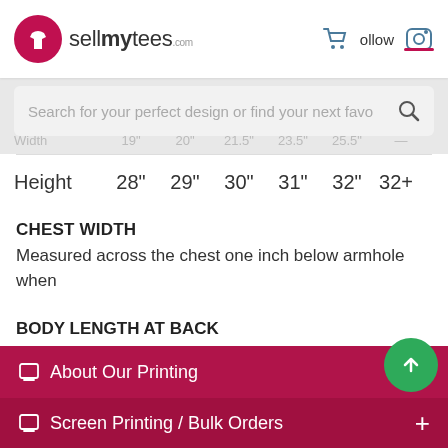[Figure (logo): SellMyTees.com logo with shopping cart and Instagram follow icons in header]
[Figure (screenshot): Search bar with placeholder text: Search for your perfect design or find your next fave]
|  | S | M | L | XL | 2X | 3X+ |
| --- | --- | --- | --- | --- | --- | --- |
| Width | 19" | 20" | 21.5" | 23.5" | 25.5" | — |
| Height | 28" | 29" | 30" | 31" | 32" | 32+ |
CHEST WIDTH
Measured across the chest one inch below armhole when
BODY LENGTH AT BACK
Measured from high point shoulder to finished hem at back
About Our Printing
Screen Printing / Bulk Orders